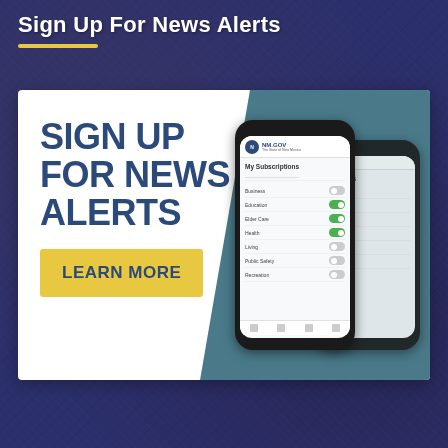Sign Up For News Alerts
[Figure (infographic): Promotional banner with 'SIGN UP FOR NEWS ALERTS' text and LEARN MORE button in yellow, alongside smartphone mockups showing NM.GOV app with My Subscriptions screen featuring toggles for Business, Education, Elder Care, Health, Living, Public Safety, Recreation categories]